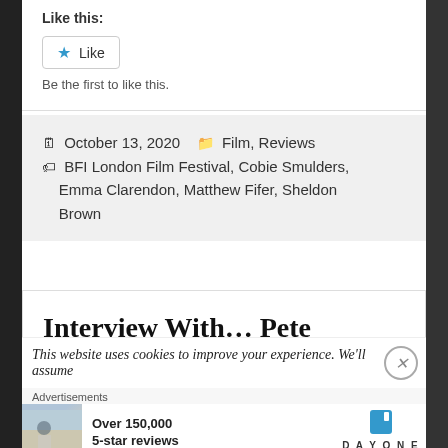Like this:
Like
Be the first to like this.
October 13, 2020  Film, Reviews  BFI London Film Festival, Cobie Smulders, Emma Clarendon, Matthew Fifer, Sheldon Brown
Interview With... Pete Murimi
This website uses cookies to improve your experience. We'll assume
Advertisements
Over 150,000 5-star reviews  DAY ONE JOURNAL